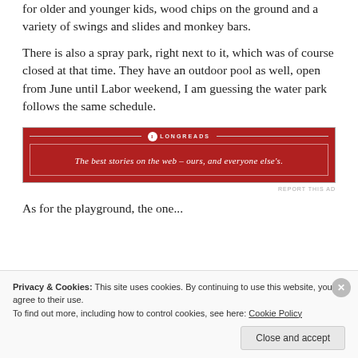for older and younger kids, wood chips on the ground and a variety of swings and slides and monkey bars.
There is also a spray park, right next to it, which was of course closed at that time. They have an outdoor pool as well, open from June until Labor weekend, I am guessing the water park follows the same schedule.
[Figure (other): Longreads advertisement banner: red background with logo and text 'The best stories on the web – ours, and everyone else's.']
REPORT THIS AD
As for the playground, the one...
Privacy & Cookies: This site uses cookies. By continuing to use this website, you agree to their use.
To find out more, including how to control cookies, see here: Cookie Policy